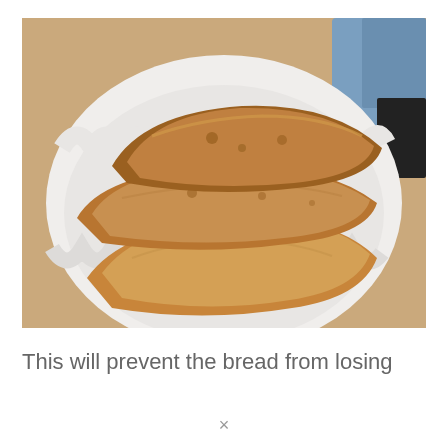[Figure (photo): Slices of golden-brown baked bread arranged in a white decorative lace-edged bowl on a wooden surface, with a blue cloth visible in the background.]
This will prevent the bread from losing